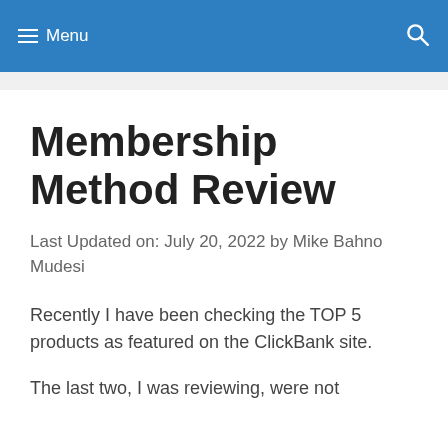Menu
Membership Method Review
Last Updated on: July 20, 2022 by Mike Bahno Mudesi
Recently I have been checking the TOP 5 products as featured on the ClickBank site.
The last two, I was reviewing, were not